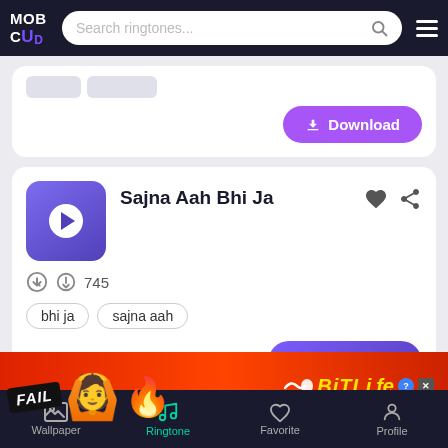[Figure (screenshot): MobCup website header with logo, search bar for ringtones, and hamburger menu on dark navy background]
[Figure (screenshot): Partial ringtone card with Download button in purple]
Sajna Aah Bhi Ja
745
bhi ja
sajna aah
Download
[Figure (screenshot): BitLife advertisement banner with FAIL text, animated character, flames, and 'Start A New Life' tagline]
Wallpaper
Ringtone
Favorite
Profile